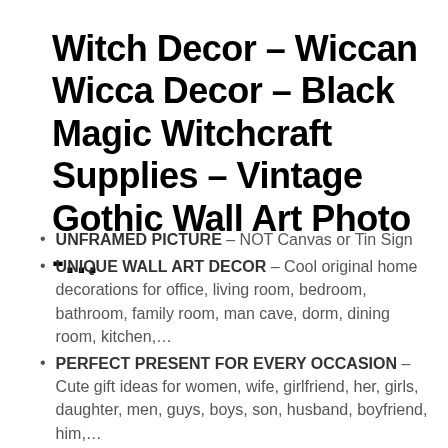Witch Decor – Wiccan Wicca Decor – Black Magic Witchcraft Supplies – Vintage Gothic Wall Art Photo -…
UNFRAMED PICTURE – NOT Canvas or Tin Sign
UNIQUE WALL ART DECOR – Cool original home decorations for office, living room, bedroom, bathroom, family room, man cave, dorm, dining room, kitchen,…
PERFECT PRESENT FOR EVERY OCCASION – Cute gift ideas for women, wife, girlfriend, her, girls, daughter, men, guys, boys, son, husband, boyfriend, him,…